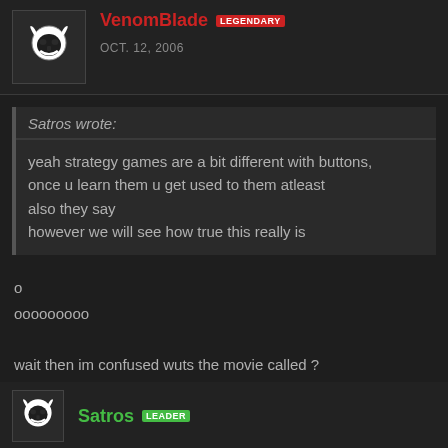VenomBlade LEGENDARY
OCT. 12, 2006
Satros wrote:
yeah strategy games are a bit different with buttons,
once u learn them u get used to them atleast
also they say
however we will see how true this really is
o
ooooooooo

wait then im confused wuts the movie called ?
Satros LEADER